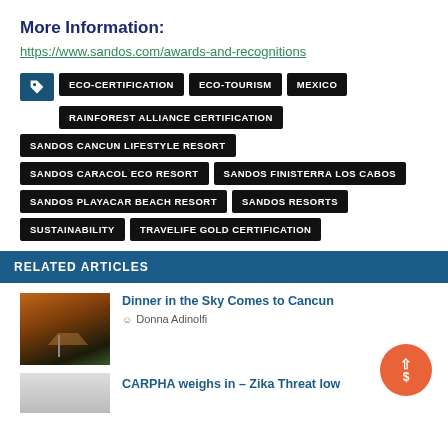More Information:
https://www.sandos.com/awards-and-recognitions
ECO-CERTIFICATION
ECO-TOURISM
MEXICO
RAINFOREST ALLIANCE CERTIFICATION
SANDOS CANCUN LIFESTYLE RESORT
SANDOS CARACOL ECO RESORT
SANDOS FINISTERRA LOS CABOS
SANDOS PLAYACAR BEACH RESORT
SANDOS RESORTS
SUSTAINABILITY
TRAVELIFE GOLD CERTIFICATION
RELATED ARTICLES
[Figure (photo): Silhouette of a sailboat at sunset over water]
Dinner in the Sky Comes to Cancun
Donna Adinolfi
CARPHA weighs in – Zika Threat low